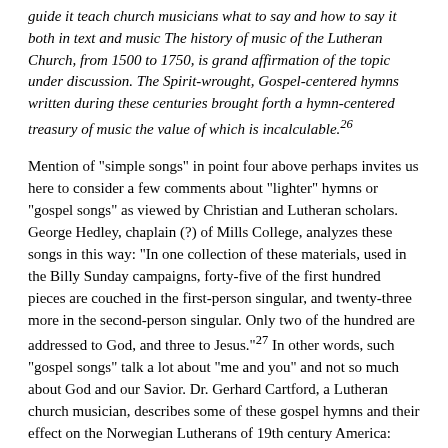guide it teach church musicians what to say and how to say it both in text and music The history of music of the Lutheran Church, from 1500 to 1750, is grand affirmation of the topic under discussion. The Spirit-wrought, Gospel-centered hymns written during these centuries brought forth a hymn-centered treasury of music the value of which is incalculable.26
Mention of "simple songs" in point four above perhaps invites us here to consider a few comments about "lighter" hymns or "gospel songs" as viewed by Christian and Lutheran scholars. George Hedley, chaplain (?) of Mills College, analyzes these songs in this way: "In one collection of these materials, used in the Billy Sunday campaigns, forty-five of the first hundred pieces are couched in the first-person singular, and twenty-three more in the second-person singular. Only two of the hundred are addressed to God, and three to Jesus."27 In other words, such "gospel songs" talk a lot about "me and you" and not so much about God and our Savior. Dr. Gerhard Cartford, a Lutheran church musician, describes some of these gospel hymns and their effect on the Norwegian Lutherans of 19th century America:
Most Lutheran hymns dealt with doctrines fundamental to the faith. These the people were accustomed to from church, and many of them were dear to them. But in the nineteenth century there was